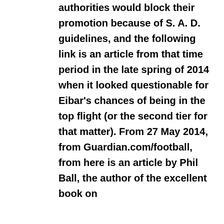authorities would block their promotion because of S. A. D. guidelines, and the following link is an article from that time period in the late spring of 2014 when it looked questionable for Eibar's chances of being in the top flight (or the second tier for that matter). From 27 May 2014, from Guardian.com/football, from here is an article by Phil Ball, the author of the excellent book on